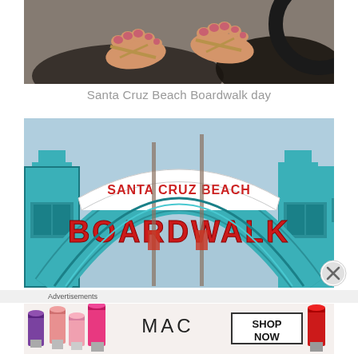[Figure (photo): Close-up photo of feet wearing sandals, viewed from above looking down, on a gray pavement surface with a partial view of a stroller wheel]
Santa Cruz Beach Boardwalk day
[Figure (photo): Photo of the Santa Cruz Beach Boardwalk entrance sign — a large arch with 'SANTA CRUZ BEACH' on a white banner and 'BOARDWALK' in large red 3D letters on a blue arch, with teal decorative structures on each side and a blue sky background]
Advertisements
[Figure (photo): MAC Cosmetics advertisement showing several lipsticks in purple, pink, coral colors on left, the MAC logo in center, and a 'SHOP NOW' button on right, with a red lipstick on far right]